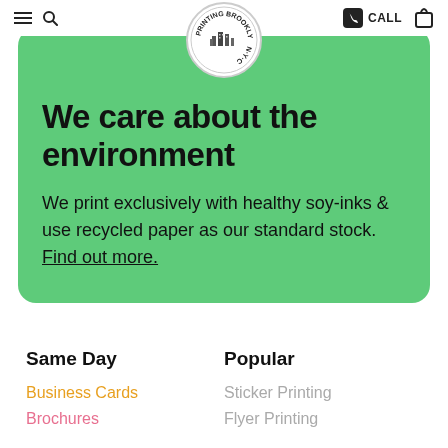≡ 🔍  [Printing Brooklyn Logo]  📞 CALL  🛍
[Figure (logo): Printing Brooklyn circular logo with city skyline illustration and text around the border]
We care about the environment
We print exclusively with healthy soy-inks & use recycled paper as our standard stock. Find out more.
Same Day
Business Cards
Brochures
Popular
Sticker Printing
Flyer Printing